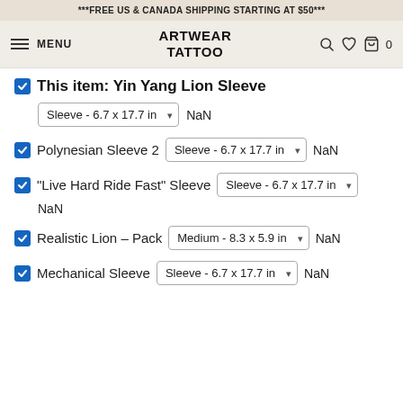***FREE US & CANADA SHIPPING STARTING AT $50***
ARTWEAR TATTOO — navigation bar with MENU, logo, search, wishlist, cart (0)
This item: Yin Yang Lion Sleeve — Sleeve - 6.7 x 17.7 in — NaN
Polynesian Sleeve 2 — Sleeve - 6.7 x 17.7 in — NaN
"Live Hard Ride Fast" Sleeve — Sleeve - 6.7 x 17.7 in — NaN
Realistic Lion – Pack — Medium - 8.3 x 5.9 in — NaN
Mechanical Sleeve — Sleeve - 6.7 x 17.7 in — NaN